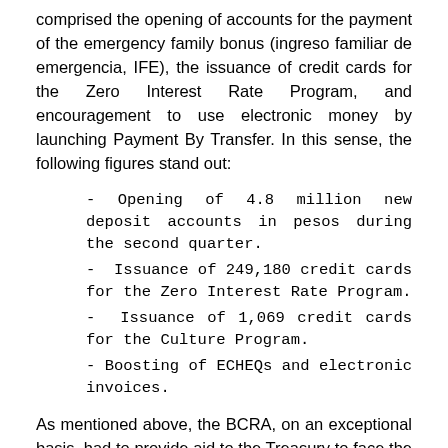comprised the opening of accounts for the payment of the emergency family bonus (ingreso familiar de emergencia, IFE), the issuance of credit cards for the Zero Interest Rate Program, and encouragement to use electronic money by launching Payment By Transfer. In this sense, the following figures stand out:
- Opening of 4.8 million new deposit accounts in pesos during the second quarter.
- Issuance of 249,180 credit cards for the Zero Interest Rate Program.
- Issuance of 1,069 credit cards for the Culture Program.
- Boosting of ECHEQs and electronic invoices.
As mentioned above, the BCRA, on an exceptional basis, had to provide aid to the Treasury to face the economic and social emergency exacerbated by the pandemic. Therefore, the BCRA has transferred ARS1.352 trillion to the National Treasury associated with profits for fiscal year 2019 and has granted